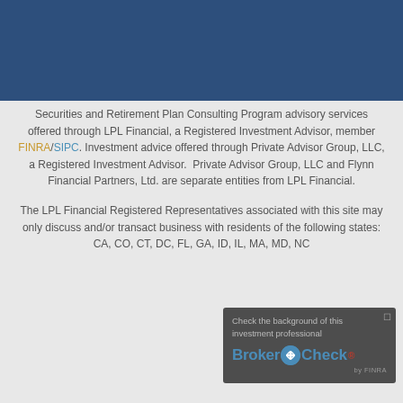[Figure (other): Dark blue header bar at top of page]
Securities and Retirement Plan Consulting Program advisory services offered through LPL Financial, a Registered Investment Advisor, member FINRA/SIPC. Investment advice offered through Private Advisor Group, LLC, a Registered Investment Advisor.  Private Advisor Group, LLC and Flynn Financial Partners, Ltd. are separate entities from LPL Financial.
The LPL Financial Registered Representatives associated with this site may only discuss and/or transact business with residents of the following states: CA, CO, CT, DC, FL, GA, ID, IL, MA, MD, NC...
[Figure (logo): BrokerCheck by FINRA overlay widget with text 'Check the background of this investment professional' and BrokerCheck logo]